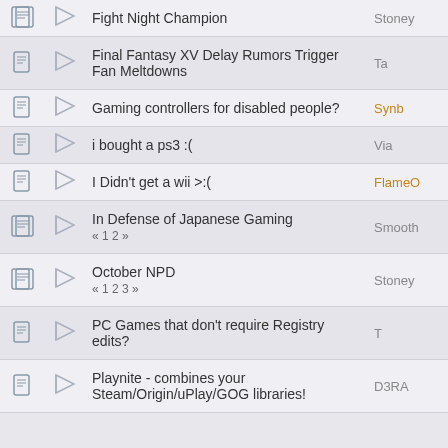|  |  | Thread Title | Last Post |
| --- | --- | --- | --- |
| [icon] | [flag] | Fight Night Champion | Stoney |
| [icon] | [flag] | Final Fantasy XV Delay Rumors Trigger Fan Meltdowns | Ta |
| [icon] | [flag] | Gaming controllers for disabled people? | Synb |
| [icon] | [flag] | i bought a ps3 :( | Via |
| [icon] | [flag] | I Didn't get a wii >:( | FlameO |
| [icon] | [flag] | In Defense of Japanese Gaming « 1 2 » | Smooth |
| [icon] | [flag] | October NPD « 1 2 3 » | Stoney |
| [icon] | [flag] | PC Games that don't require Registry edits? | T |
| [icon] | [flag] | Playnite - combines your Steam/Origin/uPlay/GOG libraries! | D3RA |